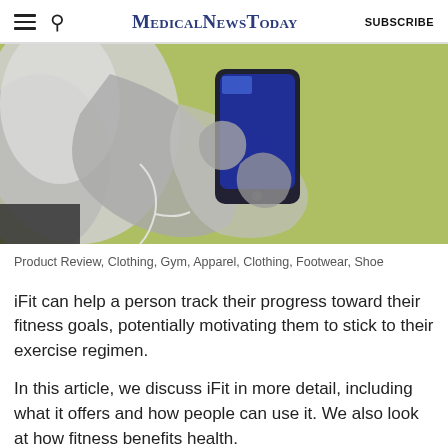MedicalNewsToday  SUBSCRIBE
[Figure (photo): Overhead view of a person holding a smartphone with earphones on a green background, in black and white tones except for the green surface.]
Product Review, Clothing, Gym, Apparel, Clothing, Footwear, Shoe
iFit can help a person track their progress toward their fitness goals, potentially motivating them to stick to their exercise regimen.
In this article, we discuss iFit in more detail, including what it offers and how people can use it. We also look at how fitness benefits health.